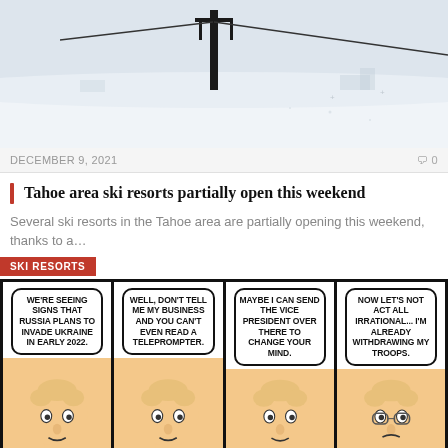[Figure (photo): Aerial or overhead view of a snowy ski resort area with a lift tower visible, heavy snow coverage]
DECEMBER 9, 2021
0
Tahoe area ski resorts partially open this weekend
Several ski resorts in the Tahoe area are partially opening this weekend, thanks to a…
[Figure (illustration): Political comic strip with 4 panels. Panel 1: character says WE'RE SEEING SIGNS THAT RUSSIA PLANS TO INVADE UKRAINE IN EARLY 2022. Panel 2: character says WELL, DON'T TELL ME MY BUSINESS AND YOU CAN'T EVEN READ A TELEPROMPTER. Panel 3: character says MAYBE I CAN SEND THE VICE PRESIDENT OVER THERE TO CHANGE YOUR MIND. Panel 4: character says NOW LET'S NOT ACT ALL IRRATIONAL... I'M ALREADY WITHDRAWING MY TROOPS. Red tag reads SKI RESORTS.]